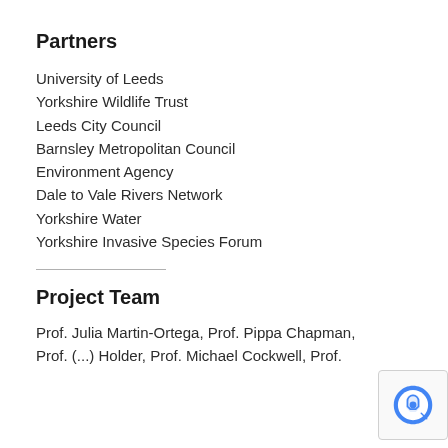Partners
University of Leeds
Yorkshire Wildlife Trust
Leeds City Council
Barnsley Metropolitan Council
Environment Agency
Dale to Vale Rivers Network
Yorkshire Water
Yorkshire Invasive Species Forum
Project Team
Prof. Julia Martin-Ortega, Prof. Pippa Chapman, Prof. (...) Holder, Prof. Michael Cockwell, Prof. ...